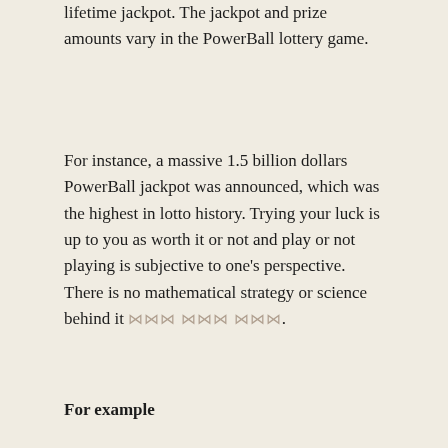lifetime jackpot. The jackpot and prize amounts vary in the PowerBall lottery game.
For instance, a massive 1.5 billion dollars PowerBall jackpot was announced, which was the highest in lotto history. Trying your luck is up to you as worth it or not and play or not playing is subjective to one's perspective. There is no mathematical strategy or science behind it ⋈⋈⋈ ⋈⋈⋈ ⋈⋈⋈.
For example